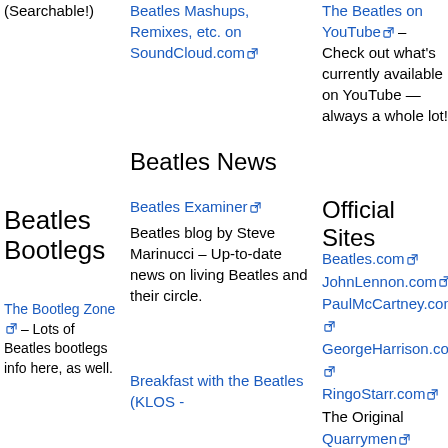(Searchable!)
Beatles Mashups, Remixes, etc. on SoundCloud.com
The Beatles on YouTube – Check out what's currently available on YouTube — always a whole lot!
Beatles News
Beatles Bootlegs
Beatles Examiner
Beatles blog by Steve Marinucci – Up-to-date news on living Beatles and their circle.
Official Sites
The Bootleg Zone – Lots of Beatles bootlegs info here, as well.
Beatles.com
JohnLennon.com
PaulMcCartney.com
GeorgeHarrison.com
RingoStarr.com
The Original Quarrymen
Breakfast with the Beatles (KLOS -